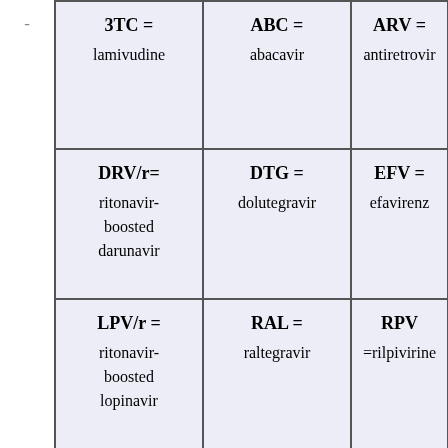| 3TC = lamivudine | ABC = abacavir | ARV = antiretroviral |
| DRV/r= ritonavir-boosted darunavir | DTG = dolutegravir | EFV = efavirenz |
| LPV/r = ritonavir-boosted lopinavir | RAL = raltegravir | RPV =rilpivirine |